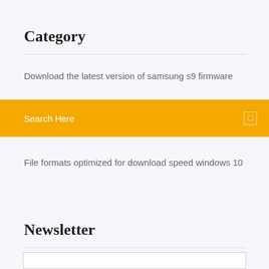Category
Download the latest version of samsung s9 firmware
Search Here
File formats optimized for download speed windows 10
Newsletter